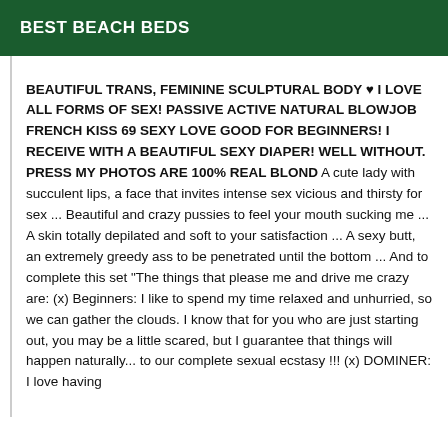BEST BEACH BEDS
BEAUTIFUL TRANS, FEMININE SCULPTURAL BODY ♥ I LOVE ALL FORMS OF SEX! PASSIVE ACTIVE NATURAL BLOWJOB FRENCH KISS 69 SEXY LOVE GOOD FOR BEGINNERS! I RECEIVE WITH A BEAUTIFUL SEXY DIAPER! WELL WITHOUT. PRESS MY PHOTOS ARE 100% REAL BLOND A cute lady with succulent lips, a face that invites intense sex vicious and thirsty for sex ... Beautiful and crazy pussies to feel your mouth sucking me ... A skin totally depilated and soft to your satisfaction ... A sexy butt, an extremely greedy ass to be penetrated until the bottom ... And to complete this set "The things that please me and drive me crazy are: (x) Beginners: I like to spend my time relaxed and unhurried, so we can gather the clouds. I know that for you who are just starting out, you may be a little scared, but I guarantee that things will happen naturally... to our complete sexual ecstasy !!! (x) DOMINER: I love having